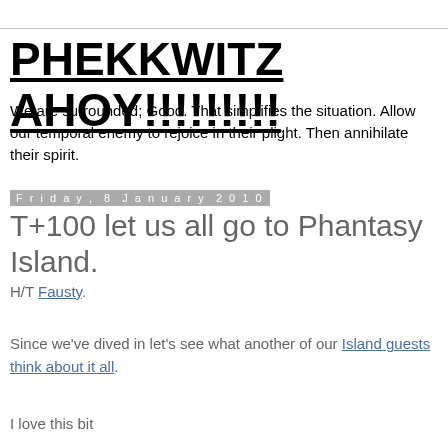PHEKKWITZ AHOY!!!!!!!!!
We are surrounded; Good. That simplifies the situation. Allow our temporal enemy to rejoice in their plight. Then annihilate their spirit.
Friday, 8 January 2010
T+100 let us all go to Phantasy Island.
H/T Fausty.
Since we've dived in let's see what another of our Island guests think about it all.
I love this bit